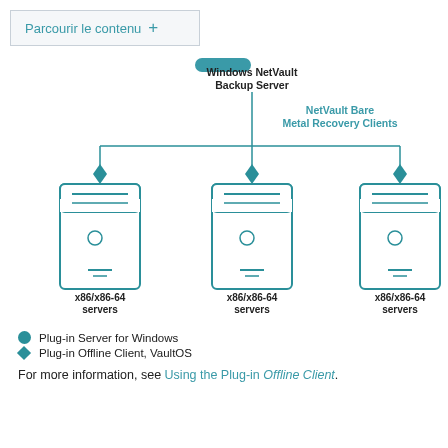Parcourir le contenu +
[Figure (network-graph): Network diagram showing a Windows NetVault Backup Server at the top connected via lines to three x86/x86-64 servers below, labeled as NetVault Bare Metal Recovery Clients. Each server connection has a diamond connector icon. The server at top has a circle icon.]
Plug-in Server for Windows
Plug-in Offline Client, VaultOS
For more information, see Using the Plug-in Offline Client.